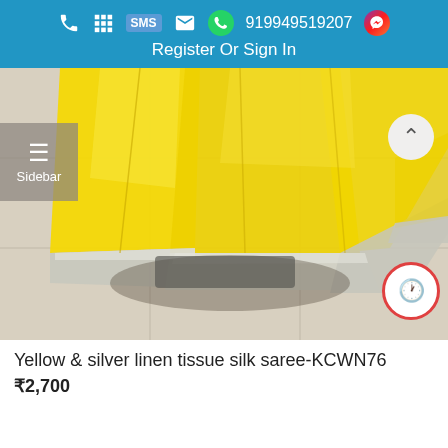919949519207  Register Or Sign In
[Figure (photo): Yellow and silver linen tissue silk saree draped/folded, displayed on a light tile floor. The fabric is bright yellow with a silver border at the bottom.]
Yellow & silver linen tissue silk saree-KCWN76
₹2,700